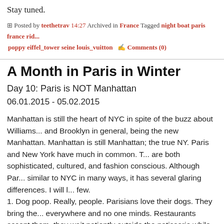Stay tuned.
Posted by teethetrav 14:27 Archived in France Tagged night boat paris france rid... poppy eiffel_tower seine louis_vuitton   Comments (0)
A Month in Paris in Winter
Day 10: Paris is NOT Manhattan
06.01.2015 - 05.02.2015
Manhattan is still the heart of NYC in spite of the buzz about Williams... and Brooklyn in general, being the new Manhattan. Manhattan is still Manhattan; the true NY. Paris and New York have much in common. T... are both sophisticated, cultured, and fashion conscious. Although Par... similar to NYC in many ways, it has several glaring differences. I will l... few.
1. Dog poop. Really, people. Parisians love their dogs. They bring the... everywhere and no one minds. Restaurants accept them, they wait patiently outside the patisserie while their owner buys a daily baguette... they walk leashlessly through parks. Fine. I too am a dog lover. But I ... not a dog poop lover, especially when I step in it. In Paris, it's hard to...